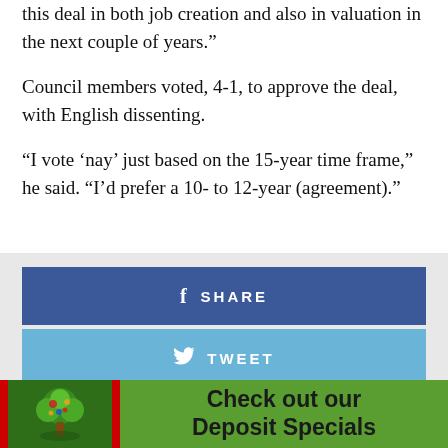this deal in both job creation and also in valuation in the next couple of years.”
Council members voted, 4-1, to approve the deal, with English dissenting.
“I vote ‘nay’ just based on the 15-year time frame,” he said. “I’d prefer a 10- to 12-year (agreement).”
[Figure (screenshot): Social sharing buttons: Facebook Share (blue), Twitter Tweet (light blue), Pinterest Pin (red), with a close button overlay. Below is an advertisement banner for Deposit Specials featuring a tree logo on green background.]